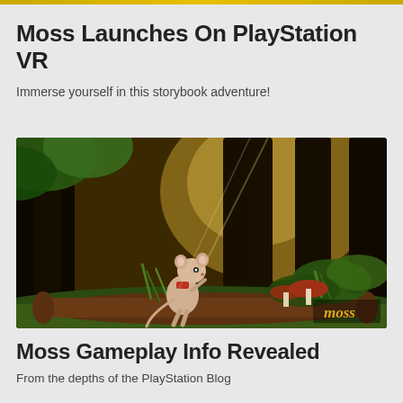Moss Launches On PlayStation VR
Immerse yourself in this storybook adventure!
[Figure (screenshot): Moss VR game screenshot showing a small mouse character standing in a lush forest environment with mushrooms, ferns, moss-covered ground and tall trees. The Moss game logo appears in the bottom right corner.]
Moss Gameplay Info Revealed
From the depths of the PlayStation Blog